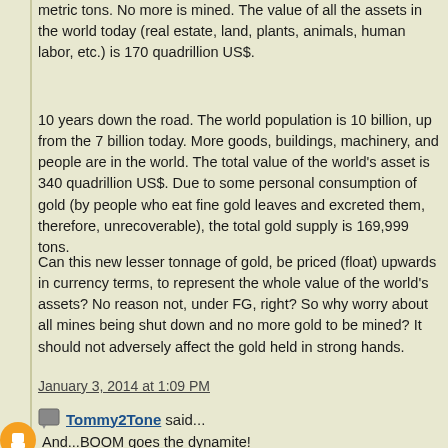metric tons. No more is mined. The value of all the assets in the world today (real estate, land, plants, animals, human labor, etc.) is 170 quadrillion US$.
10 years down the road. The world population is 10 billion, up from the 7 billion today. More goods, buildings, machinery, and people are in the world. The total value of the world's asset is 340 quadrillion US$. Due to some personal consumption of gold (by people who eat fine gold leaves and excreted them, therefore, unrecoverable), the total gold supply is 169,999 tons.
Can this new lesser tonnage of gold, be priced (float) upwards in currency terms, to represent the whole value of the world's assets? No reason not, under FG, right? So why worry about all mines being shut down and no more gold to be mined? It should not adversely affect the gold held in strong hands.
January 3, 2014 at 1:09 PM
Tommy2Tone said...
And...BOOM goes the dynamite!
Thanks Daniel.
January 3, 2014 at 1:33 PM